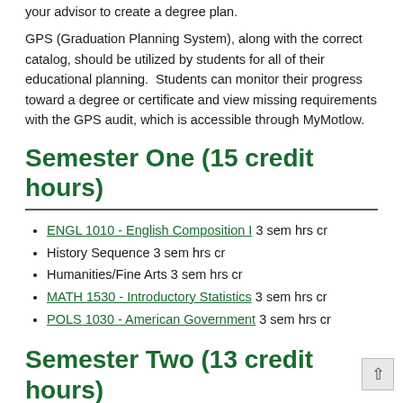your advisor to create a degree plan.
GPS (Graduation Planning System), along with the correct catalog, should be utilized by students for all of their educational planning.  Students can monitor their progress toward a degree or certificate and view missing requirements with the GPS audit, which is accessible through MyMotlow.
Semester One (15 credit hours)
ENGL 1010 - English Composition I 3 sem hrs cr
History Sequence 3 sem hrs cr
Humanities/Fine Arts 3 sem hrs cr
MATH 1530 - Introductory Statistics 3 sem hrs cr
POLS 1030 - American Government 3 sem hrs cr
Semester Two (13 credit hours)